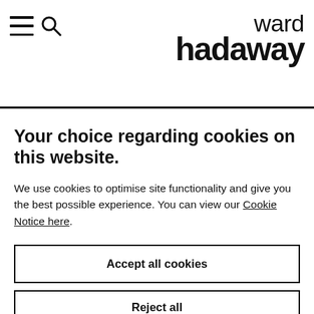[Figure (logo): Ward Hadaway law firm logo with hamburger menu and search icon in header]
Your choice regarding cookies on this website.
We use cookies to optimise site functionality and give you the best possible experience. You can view our Cookie Notice here.
Accept all cookies
Reject all non-essential cookies